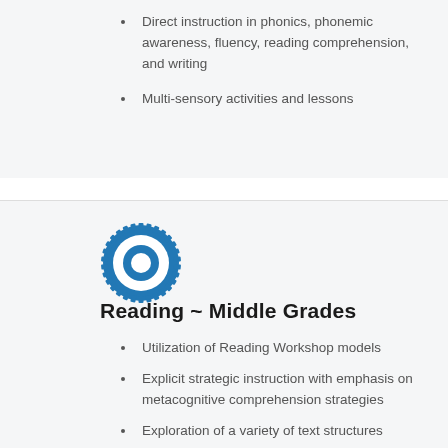Direct instruction in phonics, phonemic awareness, fluency, reading comprehension, and writing
Multi-sensory activities and lessons
[Figure (illustration): Blue circular gear/cog icon with a white circle in the center]
Reading ~ Middle Grades
Utilization of Reading Workshop models
Explicit strategic instruction with emphasis on metacognitive comprehension strategies
Exploration of a variety of text structures